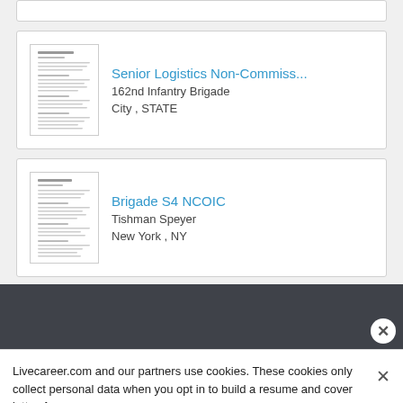[Figure (screenshot): Partial top card (clipped at top)]
Senior Logistics Non-Commiss...
162nd Infantry Brigade
City , STATE
Brigade S4 NCOIC
Tishman Speyer
New York , NY
Livecareer.com and our partners use cookies. These cookies only collect personal data when you opt in to build a resume and cover letter. Learn more